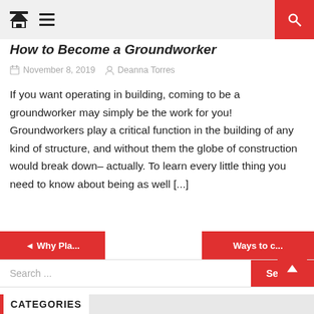How to Become a Groundworker
November 8, 2019   Deanna Torres
If you want operating in building, coming to be a groundworker may simply be the work for you! Groundworkers play a critical function in the building of any kind of structure, and without them the globe of construction would break down– actually. To learn every little thing you need to know about being as well [...]
◄ Why Pla...   Ways to c...
Search ...   Search
CATEGORIES
Artificial Grass
Construction